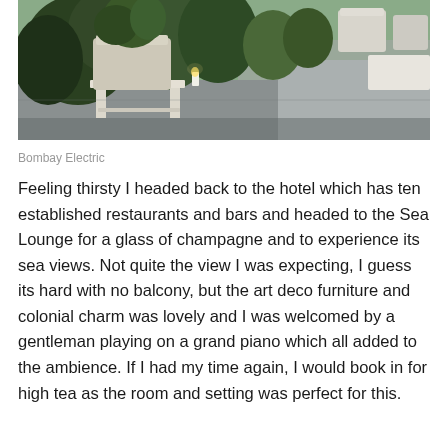[Figure (photo): Interior photo of Bombay Electric showing potted plants on a white wooden stand/shelf, a candle, green foliage, and grey floor with white furnishings in the background]
Bombay Electric
Feeling thirsty I headed back to the hotel which has ten established restaurants and bars and headed to the Sea Lounge for a glass of champagne and to experience its sea views. Not quite the view I was expecting, I guess its hard with no balcony, but the art deco furniture and colonial charm was lovely and I was welcomed by a gentleman playing on a grand piano which all added to the ambience. If I had my time again, I would book in for high tea as the room and setting was perfect for this.